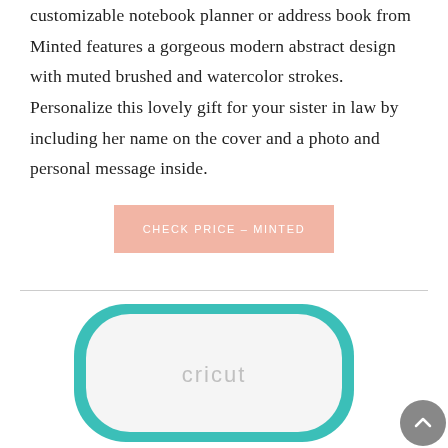customizable notebook planner or address book from Minted features a gorgeous modern abstract design with muted brushed and watercolor strokes. Personalize this lovely gift for your sister in law by including her name on the cover and a photo and personal message inside.
[Figure (other): A salmon/peach colored button with text 'CHECK PRICE – MINTED' in white uppercase letters]
[Figure (photo): A white Cricut machine with teal/mint colored rounded rectangular border, showing the cricut logo, photographed from above against a white background]